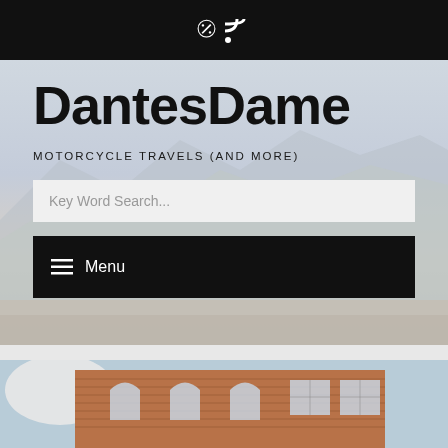RSS feed icon
DantesDame
MOTORCYCLE TRAVELS (AND MORE)
Key Word Search...
☰ Menu
[Figure (photo): Partial view of a red brick industrial building with arched windows, photographed from below against a blue sky]